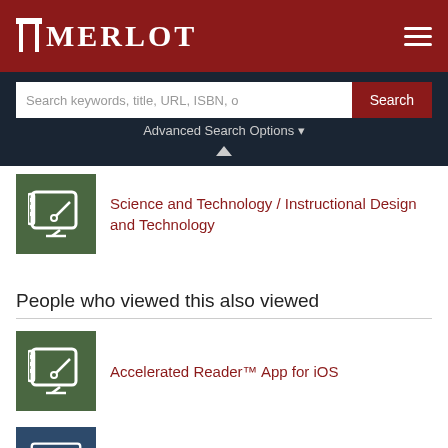MERLOT
Search keywords, title, URL, ISBN, o
Advanced Search Options
Science and Technology / Instructional Design and Technology
People who viewed this also viewed
Accelerated Reader™ App for iOS
Google, Inc. App for iOS